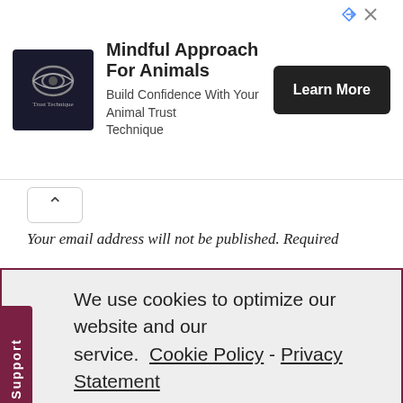[Figure (screenshot): Advertisement banner for 'Trust Technique' showing logo, headline 'Mindful Approach For Animals', subtext 'Build Confidence With Your Animal Trust Technique', and a dark 'Learn More' button. Top-right shows ad indicator icons.]
Your email address will not be published. Required
We use cookies to optimize our website and our service.  Cookie Policy  -  Privacy Statement
Accept